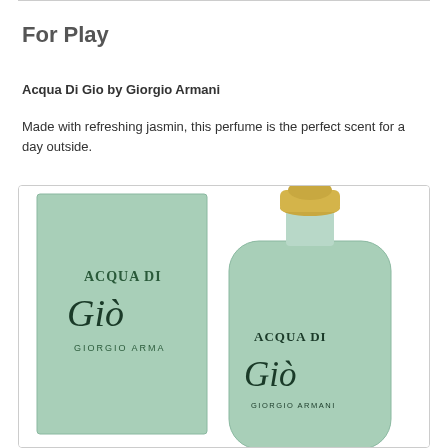For Play
Acqua Di Gio by Giorgio Armani
Made with refreshing jasmin, this perfume is the perfect scent for a day outside.
[Figure (photo): Photo of Acqua Di Gio by Giorgio Armani perfume bottle and box, both in mint/sage green color. The box shows 'ACQUA DI Giò GIORGIO ARMA' text. The bottle has a gold rounded cap and shows 'ACQUA DI Giò' text with Giorgio Armani branding below.]